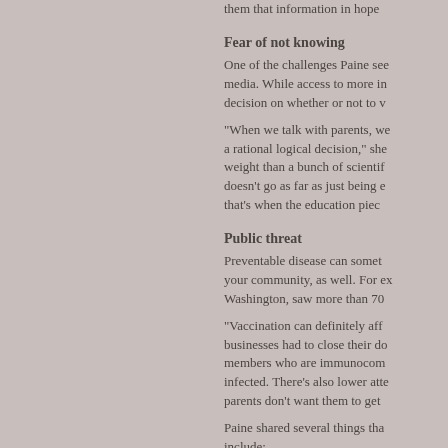them that information in hope
Fear of not knowing
One of the challenges Paine see media. While access to more in decision on whether or not to v
"When we talk with parents, we a rational logical decision," she weight than a bunch of scientif doesn't go as far as just being e that's when the education piec
Public threat
Preventable disease can somet your community, as well. For ex Washington, saw more than 70
"Vaccination can definitely aff businesses had to close their do members who are immunocom infected. There's also lower atte parents don't want them to get
Paine shared several things tha include:
1. Vaccines are safe and eff